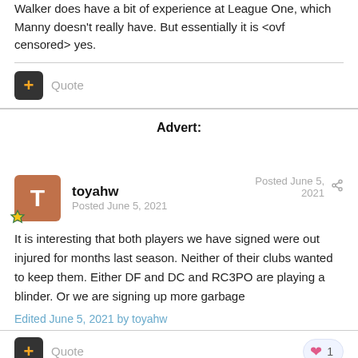Walker does have a bit of experience at League One, which Manny doesn't really have. But essentially it is <ovf censored> yes.
Quote
Advert:
toyahw
Posted June 5, 2021
Posted June 5, 2021
It is interesting that both players we have signed were out injured for months last season. Neither of their clubs wanted to keep them. Either DF and DC and RC3PO are playing a blinder. Or we are signing up more garbage
Edited June 5, 2021 by toyahw
Quote
1